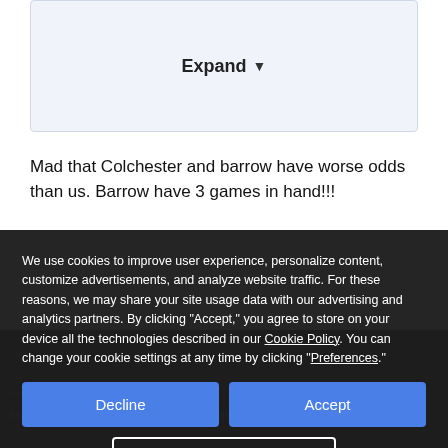[Figure (screenshot): Expand button UI element inside a light blue bordered box]
Mad that Colchester and barrow have worse odds than us. Barrow have 3 games in hand!!!
We use cookies to improve user experience, personalize content, customize advertisements, and analyze website traffic. For these reasons, we may share your site usage data with our advertising and analytics partners. By clicking “Accept,” you agree to store on your device all the technologies described in our Cookie Policy. You can change your cookie settings at any time by clicking “Preferences.”
Decline
Accept
Preferences
Newport are to play their next 2 home games at Cardiff to give their pitch a rest.